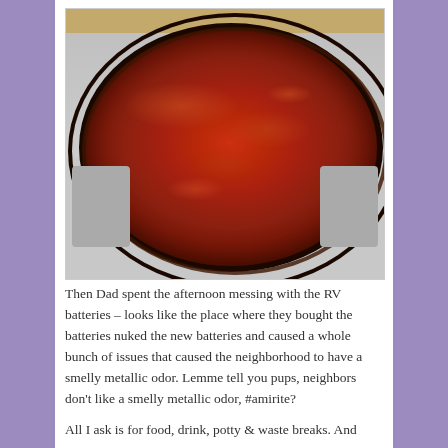[Figure (photo): A cast iron skillet filled with red tomato sauce cooking on a gas stove, viewed from above. The sauce appears chunky and bubbling. The stove top is visible with burner grates around the pan. Stone/granite backsplash visible at top.]
Then Dad spent the afternoon messing with the RV batteries – looks like the place where they bought the batteries nuked the new batteries and caused a whole bunch of issues that caused the neighborhood to have a smelly metallic odor. Lemme tell you pups, neighbors don't like a smelly metallic odor, #amirite?
All I ask is for food, drink, potty & waste breaks. And